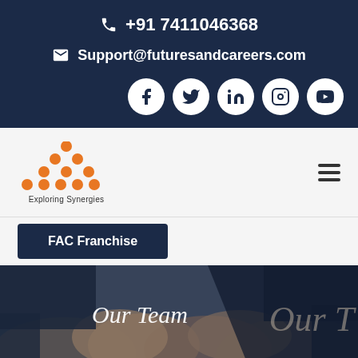+91 7411046368
Support@futuresandcareers.com
[Figure (other): Social media icons: Facebook, Twitter, LinkedIn, Instagram, YouTube in white circles on dark background]
[Figure (logo): Futures and Careers logo with orange dot pyramid pattern and tagline 'Exploring Synergies']
FAC Franchise
[Figure (photo): Team photo showing multiple hands joined together in a circle, overlaid with 'Our Team' text]
Our Team